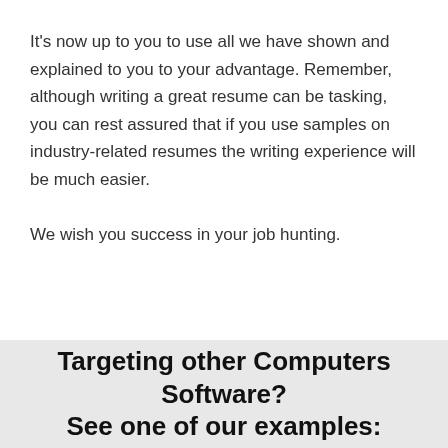It's now up to you to use all we have shown and explained to you to your advantage. Remember, although writing a great resume can be tasking, you can rest assured that if you use samples on industry-related resumes the writing experience will be much easier.
We wish you success in your job hunting.
Targeting other Computers Software? See one of our examples: